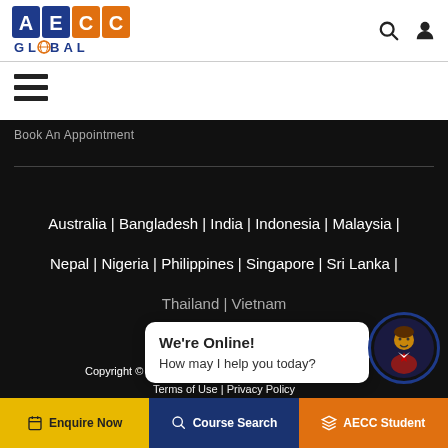AECC Global
☰ (hamburger menu)
Book An Appointment
Australia | Bangladesh | India | Indonesia | Malaysia | Nepal | Nigeria | Philippines | Singapore | Sri Lanka | Thailand | Vietnam
We're Online! How may I help you today?
Copyright © 2022 AECC Global. Useful Links | Glossary | Terms of Use | Privacy Policy
Enquire Now | Course Search | AECC Student